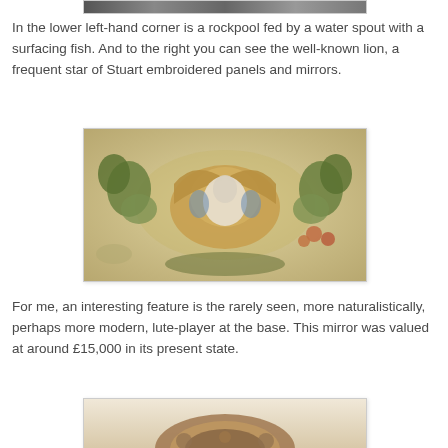[Figure (photo): Top portion of an embroidered panel, partially cropped at the top of the page]
In the lower left-hand corner is a rockpool fed by a water spout with a surfacing fish. And to the right you can see the well-known lion, a frequent star of Stuart embroidered panels and mirrors.
[Figure (photo): Close-up photograph of a Stuart embroidered panel showing a bird (possibly a pelican or eagle) with wings spread, surrounded by botanical elements including leaves, acorns, and fruit, embroidered in gold, green, and blue threads on a light background]
For me, an interesting feature is the rarely seen, more naturalistically, perhaps more modern, lute-player at the base. This mirror was valued at around £15,000 in its present state.
[Figure (photo): Bottom portion of a Stuart embroidered mirror, showing the ornate frame with circular mirror, partially cropped at the bottom of the page]